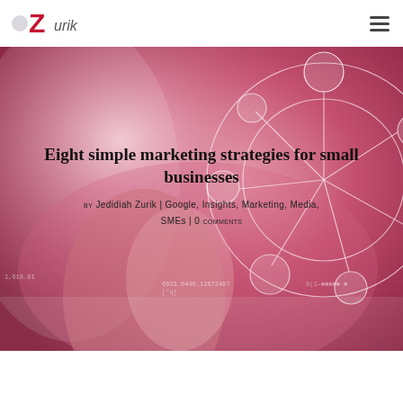Zurik
[Figure (photo): A person pointing at a glowing digital network graphic with circular social media and communication icons, on a pink/magenta gradient background with data numbers overlaid.]
Eight simple marketing strategies for small businesses
by Jedidiah Zurik | Google, Insights, Marketing, Media, SMEs | 0 comments